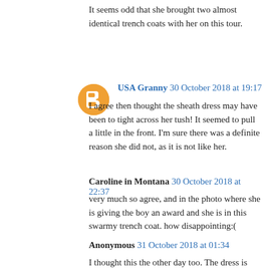It seems odd that she brought two almost identical trench coats with her on this tour.
USA Granny  30 October 2018 at 19:17
I agree then thought the sheath dress may have been to tight across her tush! It seemed to pull a little in the front. I'm sure there was a definite reason she did not, as it is not like her.
Caroline in Montana  30 October 2018 at 22:37
very much so agree, and in the photo where she is giving the boy an award and she is in this swarmy trench coat. how disappointing:(
Anonymous  31 October 2018 at 01:34
I thought this the other day too. The dress is beautiful but too tight. It would've been worse without the jacket to cover how poorly it is fitting